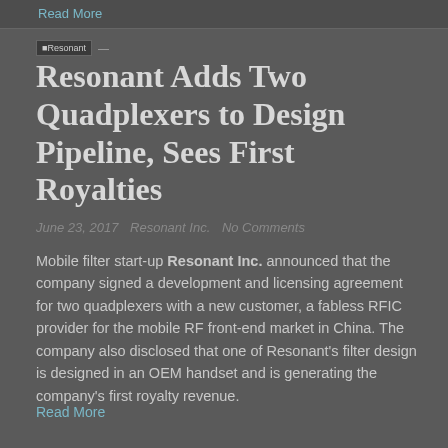Read More
[Figure (logo): Resonant Inc. logo small square icon with text]
Resonant Adds Two Quadplexers to Design Pipeline, Sees First Royalties
June 23, 2017   Resonant Inc.   No Comments
Mobile filter start-up Resonant Inc. announced that the company signed a development and licensing agreement for two quadplexers with a new customer, a fabless RFIC provider for the mobile RF front-end market in China. The company also disclosed that one of Resonant's filter design is designed in an OEM handset and is generating the company's first royalty revenue.
Read More